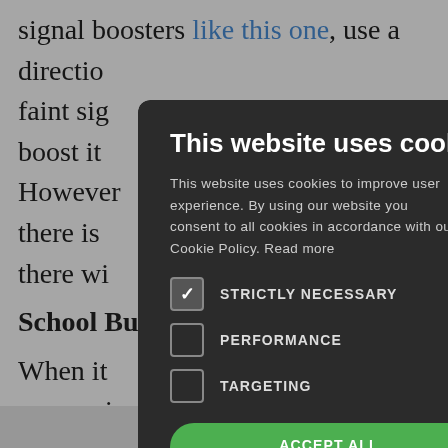signal boosters like this one, use a directional antenna to capture a faint signal from far away, and boost it so… However… there is… there wi…
School Bus…
When it… conversi… getting back to the bare necessities
[Figure (screenshot): Cookie consent modal dialog on dark overlay background. Title: 'This website uses cookies'. Body text: 'This website uses cookies to improve user experience. By using our website you consent to all cookies in accordance with our Cookie Policy. Read more'. Checkboxes: STRICTLY NECESSARY (checked), PERFORMANCE (unchecked), TARGETING (unchecked). Buttons: ACCEPT ALL (green), DECLINE ALL (outlined). SHOW DETAILS option with gear icon. Footer: POWERED BY COOKIE SCRIPT. Close X button top right.]
Share This ∨
×